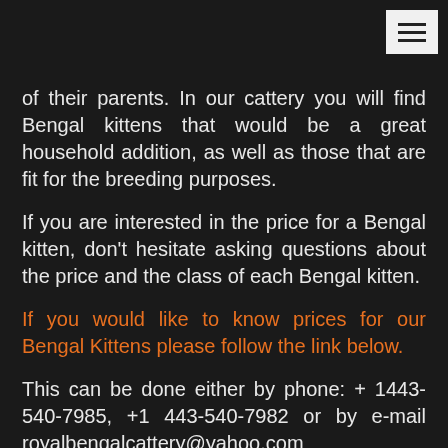of their parents. In our cattery you will find Bengal kittens that would be a great household addition, as well as those that are fit for the breeding purposes.
If you are interested in the price for a Bengal kitten, don't hesitate asking questions about the price and the class of each Bengal kitten.
If you would like to know prices for our Bengal Kittens please follow the link below.
This can be done either by phone: + 1443-540-7985, +1 443-540-7982 or by e-mail royalbengalcattery@yahoo.com
We are happy to answer all your questions.
All our male and female Bengal cats are tested for carrying genetic diseases, so we are sure of the health